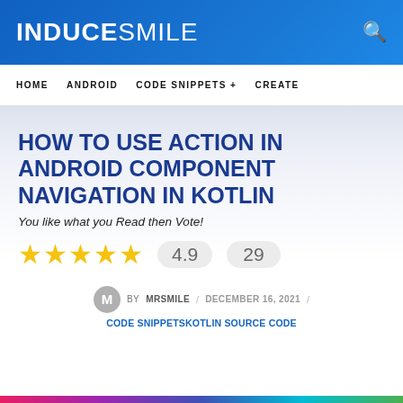INDUCESMILE
HOME   ANDROID   CODE SNIPPETS +   CREATE
HOW TO USE ACTION IN ANDROID COMPONENT NAVIGATION IN KOTLIN
You like what you Read then Vote!
★★★★★  4.9  29
BY MRSMILE / DECEMBER 16, 2021 / CODE SNIPPETS KOTLIN SOURCE CODE